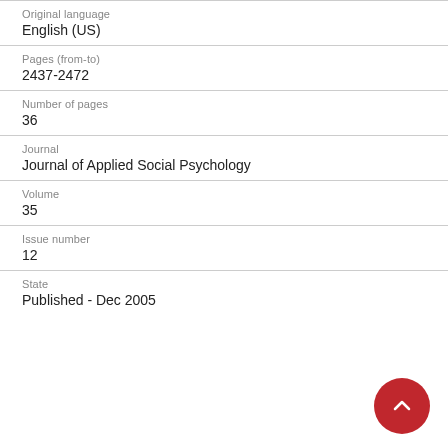Original language
English (US)
Pages (from-to)
2437-2472
Number of pages
36
Journal
Journal of Applied Social Psychology
Volume
35
Issue number
12
State
Published - Dec 2005